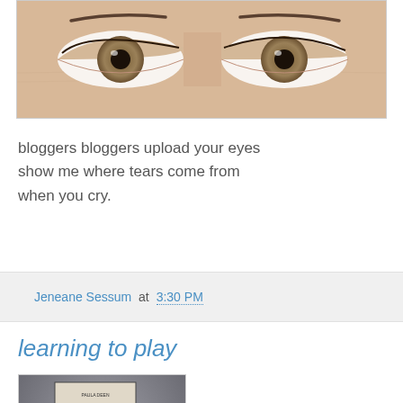[Figure (photo): Close-up photo of a person's eyes showing two hazel/brown eyes with defined eyebrows]
bloggers bloggers upload your eyes
show me where tears come from
when you cry.
Jeneane Sessum at 3:30 PM
learning to play
[Figure (photo): Photo of a person with dark curly hair looking down, with a sign or nameplate visible in the background]